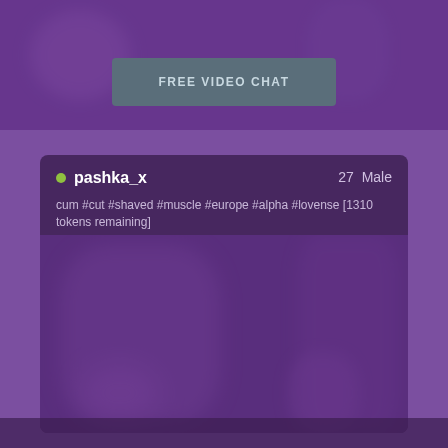[Figure (screenshot): Blurred top image area of a video chat interface with purple overlay]
FREE VIDEO CHAT
pashka_x   27  Male
cum #cut #shaved #muscle #europe #alpha #lovense [1310 tokens remaining]
[Figure (photo): Blurred video thumbnail of a male broadcaster with purple overlay]